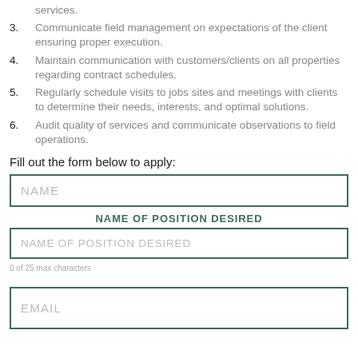services.
3. Communicate field management on expectations of the client ensuring proper execution.
4. Maintain communication with customers/clients on all properties regarding contract schedules.
5. Regularly schedule visits to jobs sites and meetings with clients to determine their needs, interests, and optimal solutions.
6. Audit quality of services and communicate observations to field operations.
Fill out the form below to apply:
NAME
NAME OF POSITION DESIRED
NAME OF POSITION DESIRED
0 of 25 max characters
EMAIL